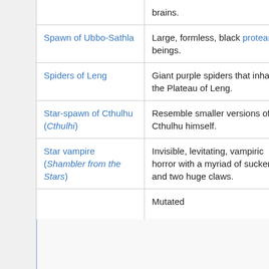| Name | Description | Code |
| --- | --- | --- |
| [partial row] | brains. |  |
| Spawn of Ubbo-Sathla | Large, formless, black protean beings. | UB |
| Spiders of Leng | Giant purple spiders that inhabit the Plateau of Leng. | DL |
| Star-spawn of Cthulhu (Cthulhi) | Resemble smaller versions of Cthulhu himself. | AM, PV, TC |
| Star vampire (Shambler from the Stars) | Invisible, levitating, vampiric horror with a myriad of suckers and two huge claws. | SF |
| [partial row] | Mutated |  |